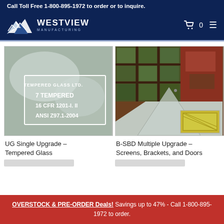Call Toll Free 1-800-895-1972 to order or to inquire.
[Figure (logo): Westview Manufacturing logo with mountain graphic and brand name]
[Figure (photo): Close-up photo of tempered glass certification stamp reading: TEMPERED GLASS LTD., 7 TEMPERED, 16 CFR 1201-I. II, ANSI Z97.1-2004]
[Figure (photo): Collage photo showing greenhouse/sunroom screens, brackets, and door components]
UG Single Upgrade – Tempered Glass
B-SBD Multiple Upgrade – Screens, Brackets, and Doors
OVERSTOCK & PRE-ORDER Deals! Savings up to 47% - Call 1-800-895-1972 to order.